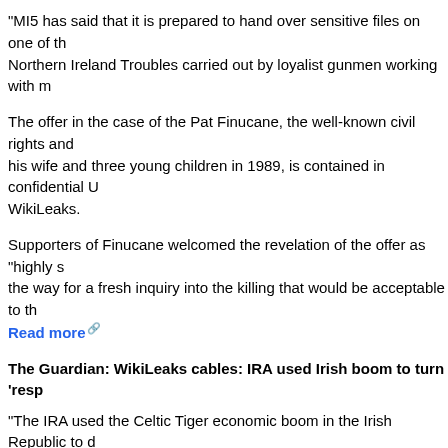"MI5 has said that it is prepared to hand over sensitive files on one of the Northern Ireland Troubles carried out by loyalist gunmen working with m...
The offer in the case of the Pat Finucane, the well-known civil rights and... his wife and three young children in 1989, is contained in confidential U... WikiLeaks.
Supporters of Finucane welcomed the revelation of the offer as "highly s... the way for a fresh inquiry into the killing that would be acceptable to th... Read more
The Guardian: WikiLeaks cables: IRA used Irish boom to turn 'resp...
"The IRA used the Celtic Tiger economic boom in the Irish Republic to c... business enterprises" by buying up properties in London, Dublin and Sp... diplomatic cables released by WikiLeaks.
A senior Irish police officer told the American embassy in Dublin that the... to move on from 1970s-style racketeering as it turned to "apparently res...
The cables also show that the growth of the Celtic Tiger was so admired... secretary travelled to Dublin in 2004 to discover the "secrets" of Ireland'...
The IRA's changing business practices are revealed in a cable by Jona...